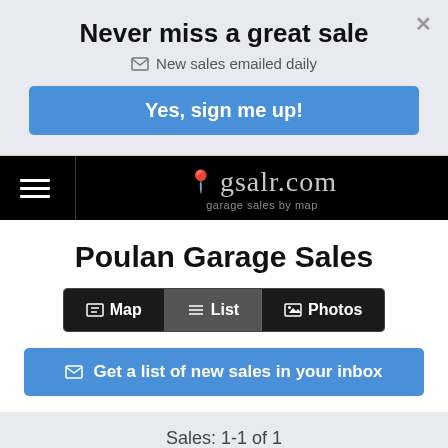Never miss a great sale
✉ New sales emailed daily
Yes, sign me up!
≡  📍 gsalr.com  garage sales by map
Poulan Garage Sales
🗺 Map  ≡ List  🖼 Photos
✉ Get a list of new sales in your inbox
Sales: 1-1 of 1